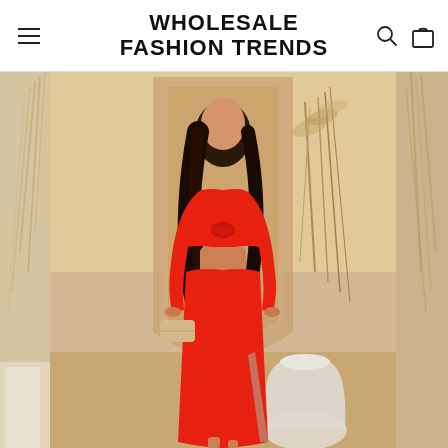WHOLESALE FASHION TRENDS
[Figure (photo): A young woman with long dark hair wearing a red two-piece outfit consisting of a long-sleeve crop top with a twist/knot front detail and a matching red midi skirt with a side slit. She holds a beige/cream clutch bag and stands in front of a decorative arch with dried pampas grass arrangements in a neutral beige studio setting. A large white ceramic vase is visible at bottom.]